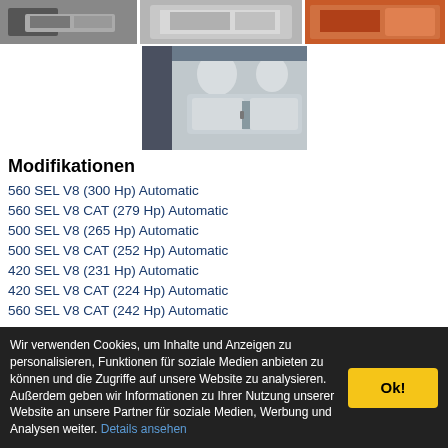[Figure (photo): Top row of three car interior photos]
[Figure (photo): Centered car rear interior photo showing grey leather seats]
Modifikationen
560 SEL V8 (300 Hp) Automatic
560 SEL V8 CAT (279 Hp) Automatic
500 SEL V8 (265 Hp) Automatic
500 SEL V8 CAT (252 Hp) Automatic
420 SEL V8 (231 Hp) Automatic
420 SEL V8 CAT (224 Hp) Automatic
560 SEL V8 CAT (242 Hp) Automatic
Wir verwenden Cookies, um Inhalte und Anzeigen zu personalisieren, Funktionen für soziale Medien anbieten zu können und die Zugriffe auf unsere Website zu analysieren. Außerdem geben wir Informationen zu Ihrer Nutzung unserer Website an unsere Partner für soziale Medien, Werbung und Analysen weiter. Details ansehen